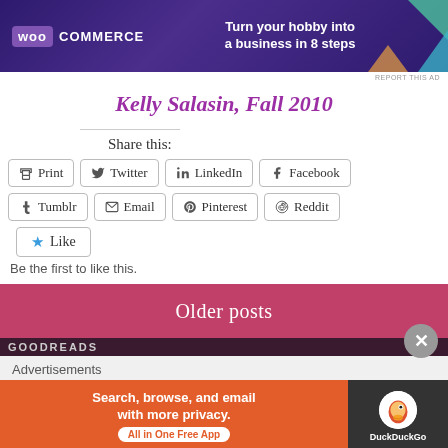[Figure (other): WooCommerce advertisement banner: 'Turn your hobby into a business in 8 steps']
REPORT THIS AD
Kelly Salasin, Fall 2010
Share this:
Print  Twitter  LinkedIn  Facebook  Tumblr  Email  Pinterest  Reddit  Like  Be the first to like this.
Older posts
GOODREADS
Advertisements
[Figure (other): DuckDuckGo advertisement: 'Search, browse, and email with more privacy. All in One Free App']